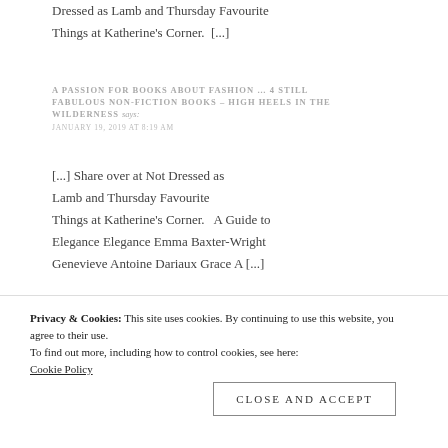Dressed as Lamb and Thursday Favourite Things at Katherine's Corner.  [...]
A PASSION FOR BOOKS ABOUT FASHION … 4 STILL FABULOUS NON-FICTION BOOKS – HIGH HEELS IN THE WILDERNESS says:
JANUARY 19, 2019 AT 8:19 AM
[...] Share over at Not Dressed as Lamb and Thursday Favourite Things at Katherine's Corner.   A Guide to Elegance Elegance Emma Baxter-Wright Genevieve Antoine Dariaux Grace A [...]
Privacy & Cookies: This site uses cookies. By continuing to use this website, you agree to their use.
To find out more, including how to control cookies, see here:
Cookie Policy
Close and accept
Lamb and Thursday Favourite